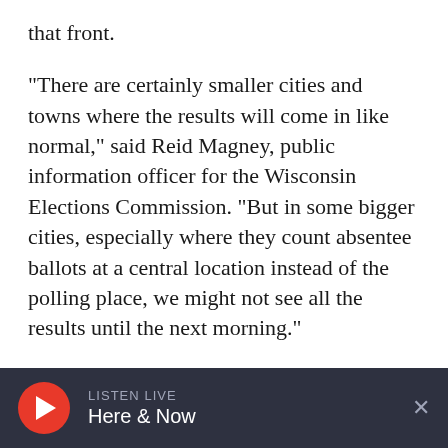that front.
"There are certainly smaller cities and towns where the results will come in like normal," said Reid Magney, public information officer for the Wisconsin Elections Commission. "But in some bigger cities, especially where they count absentee ballots at a central location instead of the polling place, we might not see all the results until the next morning."
Correction: October 31, 2020 12:00 am — A previous version of this story incorrectly said Michigan does not start counting mail-in ballots
LISTEN LIVE Here & Now